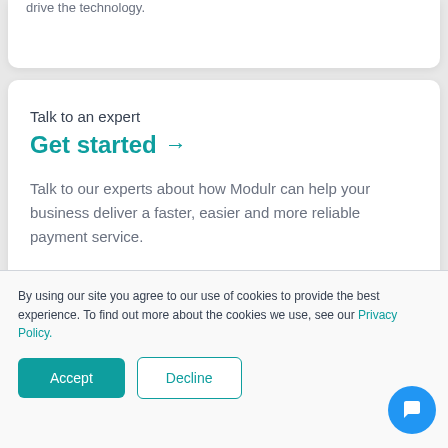drive the technology.
Talk to an expert
Get started →
Talk to our experts about how Modulr can help your business deliver a faster, easier and more reliable payment service.
By using our site you agree to our use of cookies to provide the best experience. To find out more about the cookies we use, see our Privacy Policy.